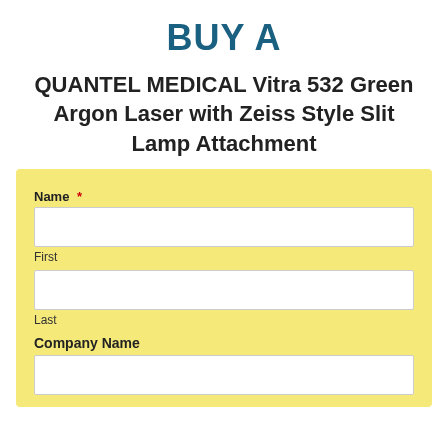BUY A
QUANTEL MEDICAL Vitra 532 Green Argon Laser with Zeiss Style Slit Lamp Attachment
Name *
First
Last
Company Name